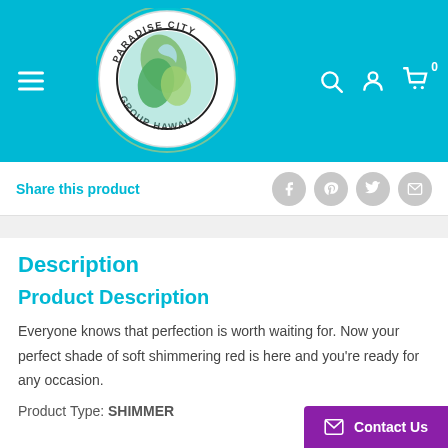[Figure (logo): Paradise City Group Hawaii circular logo with leaf/bird design]
Share this product
Description
Product Description
Everyone knows that perfection is worth waiting for. Now your perfect shade of soft shimmering red is here and you're ready for any occasion.
Product Type: SHIMMER